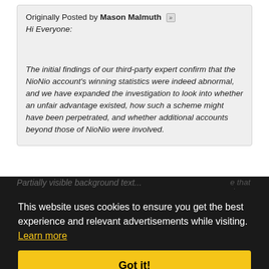Originally Posted by Mason Malmuth [»]
Hi Everyone:

The initial findings of our third-party expert confirm that the NioNio account's winning statistics were indeed abnormal, and we have expanded the investigation to look into whether an unfair advantage existed, how such a scheme might have been perpetrated, and whether additional accounts beyond those of NioNio were involved.
This website uses cookies to ensure you get the best experience and relevant advertisements while visiting. Learn more
Got it!
...e that dozen